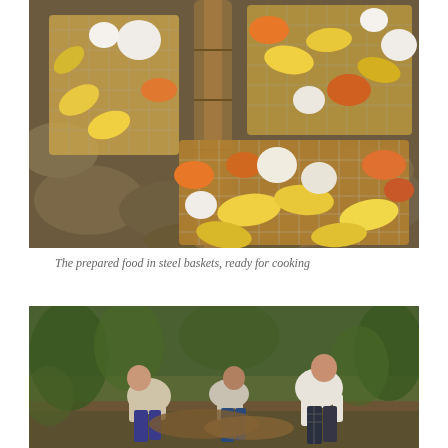[Figure (photo): Overhead view of steel wire mesh baskets filled with corn cobs, pumpkin pieces, onions, and other vegetables arranged on wooden logs and rocks, ready for cooking.]
The prepared food in steel baskets, ready for cooking
[Figure (photo): Three men bending over and working together outdoors in a grassy, vegetated area, apparently digging or preparing something on the ground.]